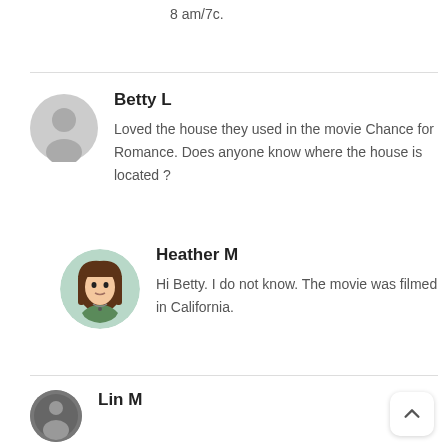8 am/7c.
Betty L
Loved the house they used in the movie Chance for Romance. Does anyone know where the house is located ?
Heather M
Hi Betty. I do not know. The movie was filmed in California.
Lin M